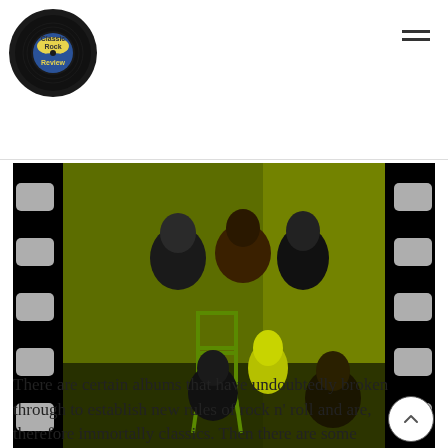Classic Rock Review
[Figure (photo): Band photo with film strip border effect showing a rock group in a green-lit room with a mannequin head and green chair]
There are certain albums that have undoubtedly broken through to establish new rules of rock n’ roll and are, therefore immortally classics. Then there are some albums that seem to have